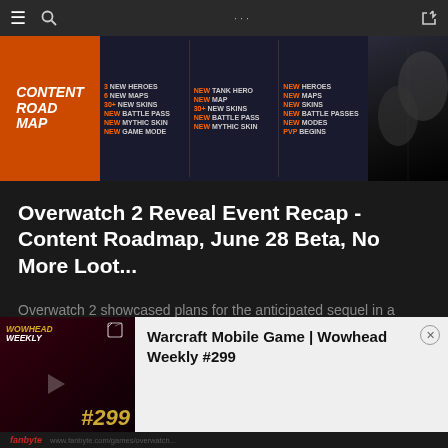≡  🔍  ···  share
[Figure (screenshot): Content Roadmap banner showing Overwatch 2 content features: 3 New Heroes, New Maps, 30+ New Skins, New Battle Pass, New Mythic Skin, New Game Mode on the left columns; New Tank Hero, New Map, 30+ New Skins, New Battle Pass, New Mythic Skin on center column; New Heroes, New Maps, New Skins, New Battle Passes, New Modes, PvP Begins on right column; with game character art on the right side.]
Overwatch 2 Reveal Event Recap - Content Roadmap, June 28 Beta, No More Loot...
Overwatch 2 showcased plans for the anticipated sequel in a special reveal event detailing a new free-to-play, live experience model, which is...
Archimtiros   2022/06/19  04:52
[Figure (screenshot): Wowhead Weekly #299 video thumbnail showing anime-style characters with red background and gold #299 text]
Warcraft Mobile Game | Wowhead Weekly #299
fanbyte